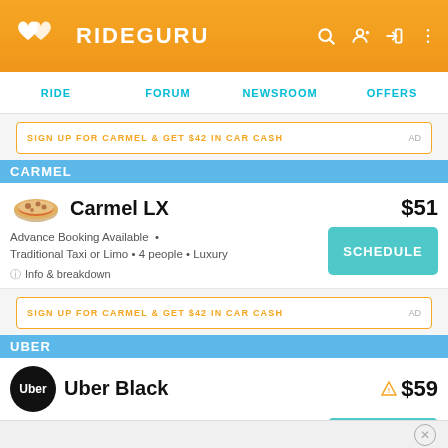RIDEGURU
RIDE  FORUM  NEWSROOM  OFFERS
SIGN UP FOR CARMEL & GET $42 IN CAR CASH  AD
CARMEL
Carmel LX  $51
Advance Booking Available • Traditional Taxi or Limo • 4 people • Luxury
ⓘ Info & breakdown
SCHEDULE
SIGN UP FOR CARMEL & GET $42 IN CAR CASH  AD
UBER
Uber Black  ⚠ $59
4 people • Luxury
ⓘ Info & breakdown
GO